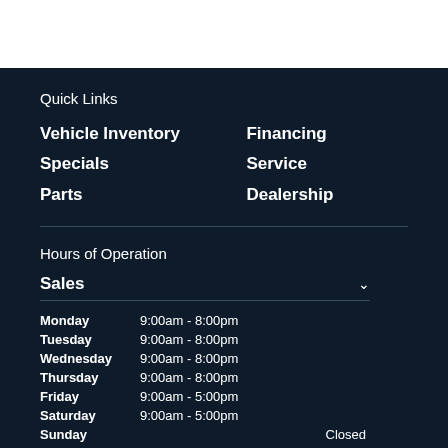Quick Links
Vehicle Inventory
Specials
Parts
Financing
Service
Dealership
Hours of Operation
Sales
| Day | Hours |
| --- | --- |
| Monday | 9:00am - 8:00pm |
| Tuesday | 9:00am - 8:00pm |
| Wednesday | 9:00am - 8:00pm |
| Thursday | 9:00am - 8:00pm |
| Friday | 9:00am - 5:00pm |
| Saturday | 9:00am - 5:00pm |
| Sunday | Closed |